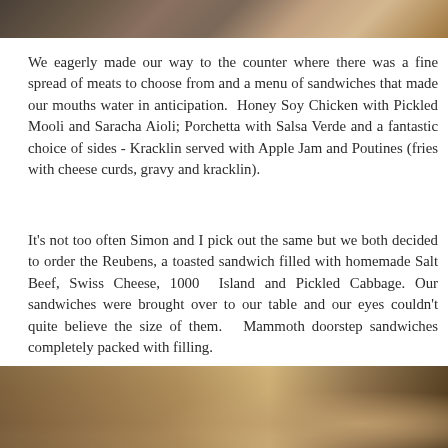[Figure (photo): Top portion of a restaurant interior photo, partially cropped]
We eagerly made our way to the counter where there was a fine spread of meats to choose from and a menu of sandwiches that made our mouths water in anticipation. Honey Soy Chicken with Pickled Mooli and Saracha Aioli; Porchetta with Salsa Verde and a fantastic choice of sides - Kracklin served with Apple Jam and Poutines (fries with cheese curds, gravy and kracklin).
It's not too often Simon and I pick out the same but we both decided to order the Reubens, a toasted sandwich filled with homemade Salt Beef, Swiss Cheese, 1000 Island and Pickled Cabbage. Our sandwiches were brought over to our table and our eyes couldn't quite believe the size of them. Mammoth doorstep sandwiches completely packed with filling.
[Figure (photo): Bottom portion of a restaurant interior photo showing wooden tables and chairs with a small cactus plant]